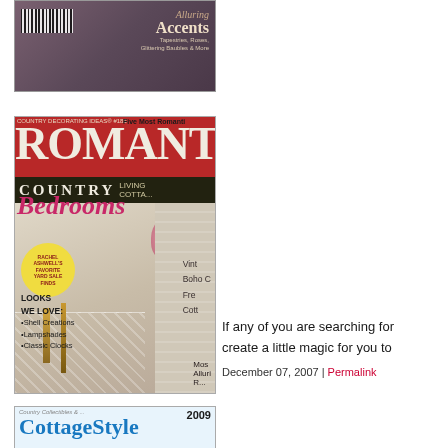[Figure (photo): Top portion of a magazine cover with barcode visible, title text 'Alluring Accents' with subtext 'Tapestries, Roses, Glittering Baubles & More', dark purple/maroon background]
[Figure (photo): Romantic Country magazine cover featuring 'Five Most Romanti...' header, large title 'ROMANTI' and 'COUNTRY', script text 'Bedrooms', Rachel Ashwell's Favorite Yard Sale Finds circle badge, candlesticks and roses photo, 'LOOKS WE LOVE: Shell Creations, Lampshades, Classic Clocks', text 'Vint... Boho C... Fre... Cott...' on right, 'Mos... Alluri... R...' at bottom right]
[Figure (photo): Partial view of Cottage Style 2009 magazine cover with teal/blue title text on light blue background]
If any of you are searching for create a little magic for you to
December 07, 2007 | Permalink